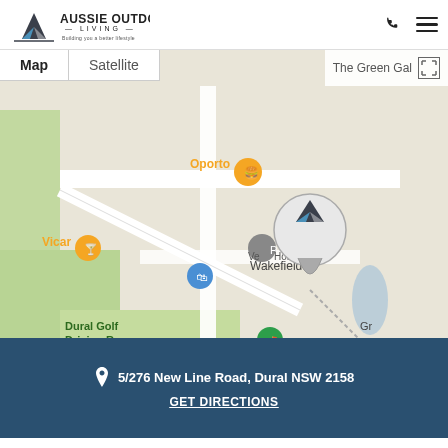[Figure (logo): Aussie Outdoor Living logo with blue/grey triangle icon and text]
[Figure (map): Google Map showing location at 5/276 New Line Road, Dural NSW 2158 with Aussie Outdoor Living pin marker, nearby landmarks including Oporto, Vicar, Dural Golf Driving Range]
5/276 New Line Road, Dural NSW 2158
GET DIRECTIONS
[Figure (logo): Aussie Outdoor Living logo repeated at bottom of page, larger version]